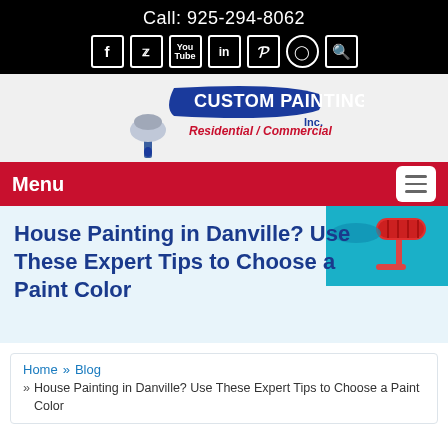Call: 925-294-8062
[Figure (logo): Custom Painting Inc. logo with paint brush, blue banner text reading CUSTOM PAINTING, red text Residential / Commercial, and Inc. in blue]
Menu
House Painting in Danville? Use These Expert Tips to Choose a Paint Color
Home » Blog » House Painting in Danville? Use These Expert Tips to Choose a Paint Color